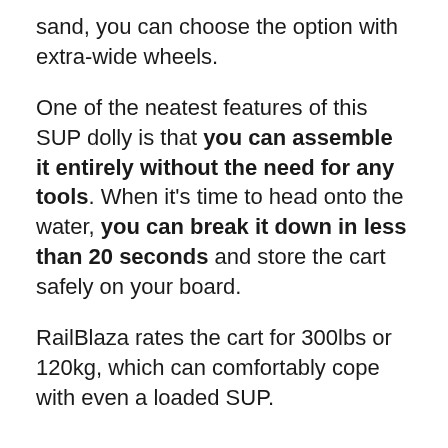sand, you can choose the option with extra-wide wheels.
One of the neatest features of this SUP dolly is that you can assemble it entirely without the need for any tools. When it’s time to head onto the water, you can break it down in less than 20 seconds and store the cart safely on your board.
RailBlaza rates the cart for 300lbs or 120kg, which can comfortably cope with even a loaded SUP.